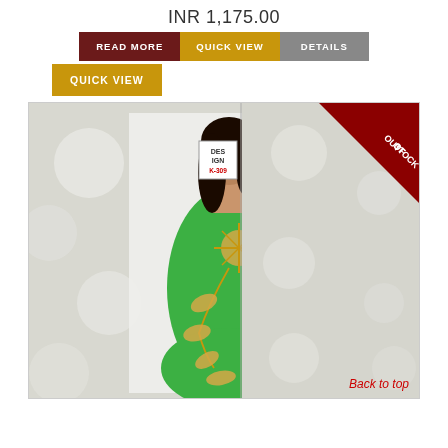INR 1,175.00
READ MORE | QUICK VIEW | DETAILS
QUICK VIEW
[Figure (photo): Woman wearing a green kurti/dress with golden floral embroidery, standing against a white background. A 'DES IGN K-309' label and 'OUT OF STOCK' ribbon are visible.]
Back to top